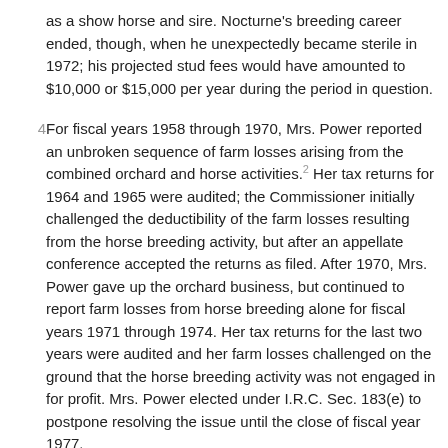as a show horse and sire. Nocturne's breeding career ended, though, when he unexpectedly became sterile in 1972; his projected stud fees would have amounted to $10,000 or $15,000 per year during the period in question.
4   For fiscal years 1958 through 1970, Mrs. Power reported an unbroken sequence of farm losses arising from the combined orchard and horse activities.² Her tax returns for 1964 and 1965 were audited; the Commissioner initially challenged the deductibility of the farm losses resulting from the horse breeding activity, but after an appellate conference accepted the returns as filed. After 1970, Mrs. Power gave up the orchard business, but continued to report farm losses from horse breeding alone for fiscal years 1971 through 1974. Her tax returns for the last two years were audited and her farm losses challenged on the ground that the horse breeding activity was not engaged in for profit. Mrs. Power elected under I.R.C. Sec. 183(e) to postpone resolving the issue until the close of fiscal year 1977.
5   After the audit, Mrs. Power's daughter, Susan Annis, prepared a memorandum analyzing Waseeka Farm's income and expenses, and projected an estimated potential profit of $5,510 for the period